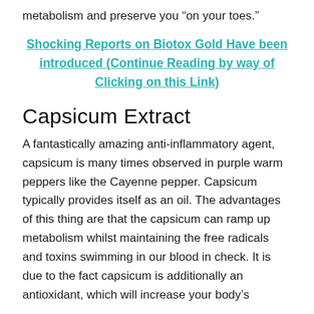metabolism and preserve you “on your toes.”
Shocking Reports on Biotox Gold Have been introduced (Continue Reading by way of Clicking on this Link)
Capsicum Extract
A fantastically amazing anti-inflammatory agent, capsicum is many times observed in purple warm peppers like the Cayenne pepper. Capsicum typically provides itself as an oil. The advantages of this thing are that the capsicum can ramp up metabolism whilst maintaining the free radicals and toxins swimming in our blood in check. It is due to the fact capsicum is additionally an antioxidant, which will increase your body’s